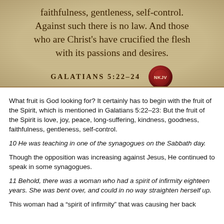[Figure (illustration): Parchment-style scripture image showing Galatians 5:22-24 (NKJV) with text: 'faithfulness, gentleness, self-control. Against such there is no law. And those who are Christ's have crucified the flesh with its passions and desires.' Reference GALATIANS 5:22-24 with a red wax seal bearing NKJV.]
What fruit is God looking for? It certainly has to begin with the fruit of the Spirit, which is mentioned in Galatians 5:22–23: But the fruit of the Spirit is love, joy, peace, long-suffering, kindness, goodness, faithfulness, gentleness, self-control.
10 He was teaching in one of the synagogues on the Sabbath day.
Though the opposition was increasing against Jesus, He continued to speak in some synagogues.
11 Behold, there was a woman who had a spirit of infirmity eighteen years. She was bent over, and could in no way straighten herself up.
This woman had a "spirit of infirmity" that was causing her back